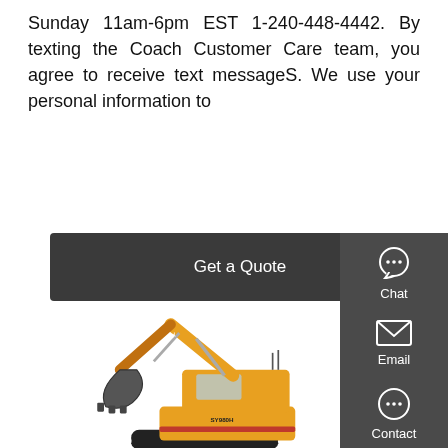Sunday 11am-6pm EST 1-240-448-4442. By texting the Coach Customer Care team, you agree to receive text messageS. We use your personal information to
[Figure (screenshot): Dark gray 'Get a Quote' button]
[Figure (illustration): SANY SY980H orange excavator image with dark sidebar showing Chat, Email, and Contact icons]